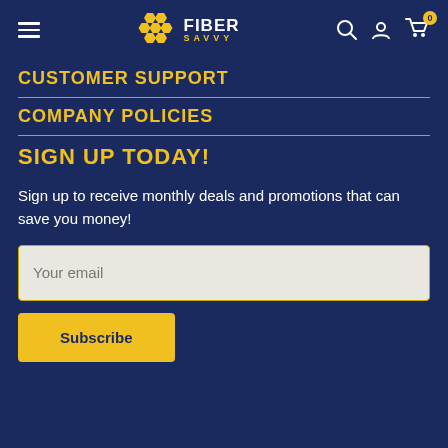Fiber Savvy - Customer Support page header with navigation
CUSTOMER SUPPORT
COMPANY POLICIES
SIGN UP TODAY!
Sign up to receive monthly deals and promotions that can save you money!
Your email
Subscribe